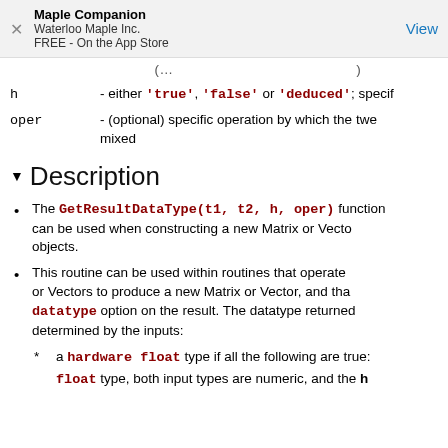Maple Companion
Waterloo Maple Inc.
FREE - On the App Store
h   - either 'true', 'false' or 'deduced'; specif
oper   - (optional) specific operation by which the two mixed
Description
The GetResultDataType(t1, t2, h, oper) function can be used when constructing a new Matrix or Vector objects.
This routine can be used within routines that operate or Vectors to produce a new Matrix or Vector, and that datatype option on the result. The datatype returned determined by the inputs:
* a hardware float type if all the following are true:
float type, both input types are numeric, and the h